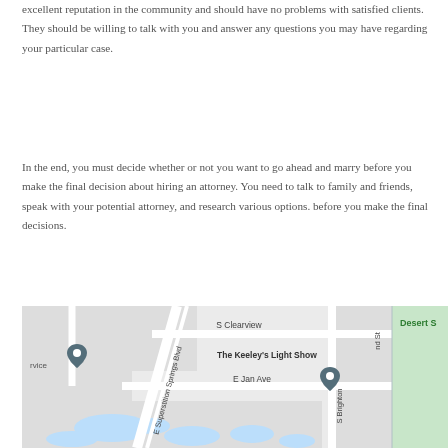excellent reputation in the community and should have no problems with satisfied clients. They should be willing to talk with you and answer any questions you may have regarding your particular case.
In the end, you must decide whether or not you want to go ahead and marry before you make the final decision about hiring an attorney. You need to talk to family and friends, speak with your potential attorney, and research various options. before you make the final decisions.
[Figure (map): Google Maps screenshot showing the area around The Keeley's Light Show, with streets including S Clearview, E Jan Ave, E Superstition Springs Blvd, S Brighton, and a Desert S label visible. Location pins are shown.]